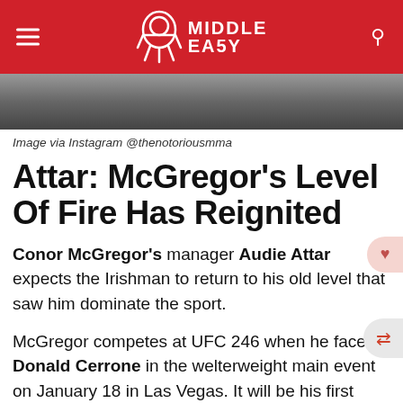Middle Easy
[Figure (photo): Photo of Conor McGregor showing chest tattoos, cropped view from below the neck]
Image via Instagram @thenotoriousmma
Attar: McGregor's Level Of Fire Has Reignited
Conor McGregor's manager Audie Attar expects the Irishman to return to his old level that saw him dominate the sport.
McGregor competes at UFC 246 when he faces Donald Cerrone in the welterweight main event on January 18 in Las Vegas. It will be his first taste of action since suffering a fourth-round